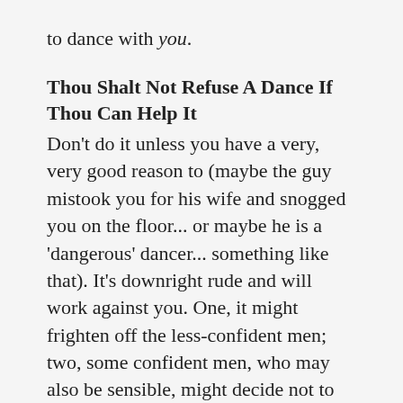to dance with you.
Thou Shalt Not Refuse A Dance If Thou Can Help It
Don't do it unless you have a very, very good reason to (maybe the guy mistook you for his wife and snogged you on the floor... or maybe he is a 'dangerous' dancer... something like that). It's downright rude and will work against you. One, it might frighten off the less-confident men; two, some confident men, who may also be sensible, might decide not to ask you